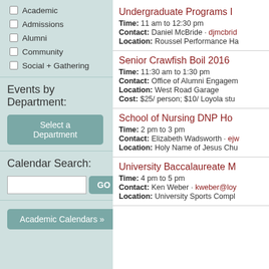Academic
Admissions
Alumni
Community
Social + Gathering
Events by Department:
Select a Department
Calendar Search:
GO
Academic Calendars »
Undergraduate Programs I
Time: 11 am to 12:30 pm
Contact: Daniel McBride · djmcbrid
Location: Roussel Performance Ha
Senior Crawfish Boil 2016
Time: 11:30 am to 1:30 pm
Contact: Office of Alumni Engagem
Location: West Road Garage
Cost: $25/ person; $10/ Loyola stu
School of Nursing DNP Ho
Time: 2 pm to 3 pm
Contact: Elizabeth Wadsworth · ejw
Location: Holy Name of Jesus Chu
University Baccalaureate M
Time: 4 pm to 5 pm
Contact: Ken Weber · kweber@loy
Location: University Sports Compl